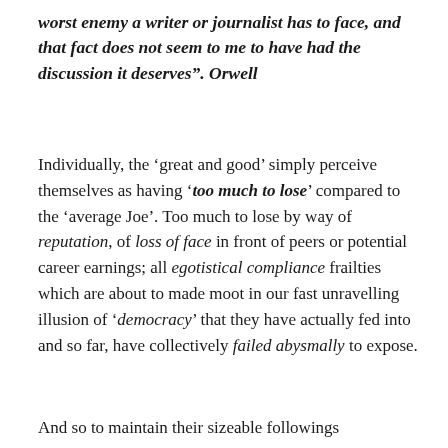worst enemy a writer or journalist has to face, and that fact does not seem to me to have had the discussion it deserves". Orwell
Individually, the ‘great and good’ simply perceive themselves as having ‘too much to lose’ compared to the ‘average Joe’. Too much to lose by way of reputation, of loss of face in front of peers or potential career earnings; all egotistical compliance frailties which are about to made moot in our fast unravelling illusion of ‘democracy’ that they have actually fed into and so far, have collectively failed abysmally to expose.
And so to maintain their sizeable followings